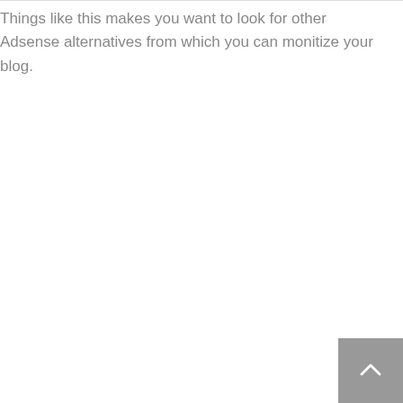Things like this makes you want to look for other Adsense alternatives from which you can monitize your blog.
[Figure (other): Scroll-to-top button: a grey square in the bottom-right corner containing an upward-pointing caret/chevron icon in white.]